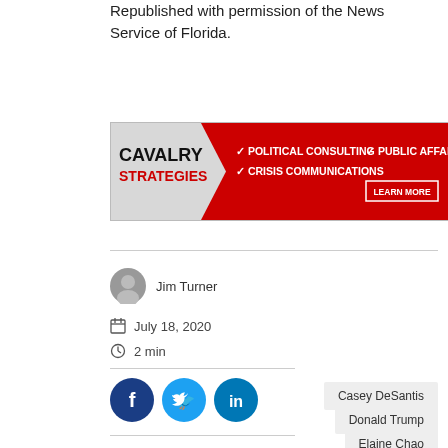Republished with permission of the News Service of Florida.
[Figure (illustration): Cavalry Strategies advertisement banner with red arrow design, listing Political Consulting, Public Affairs, Crisis Communications, and a Learn More button.]
Jim Turner
July 18, 2020
2 min
[Figure (infographic): Social share buttons: Facebook (dark blue circle with f), Twitter (light blue circle with bird), LinkedIn (teal circle with in)]
Casey DeSantis
Donald Trump
Elaine Chao